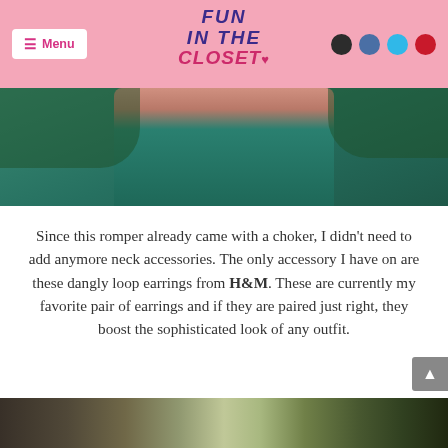≡ Menu | FUN IN THE CLOSET♥ | social icons
[Figure (photo): Person wearing a teal/green V-neck romper with greenery in background, upper body cropped]
Since this romper already came with a choker, I didn't need to add anymore neck accessories. The only accessory I have on are these dangly loop earrings from H&M. These are currently my favorite pair of earrings and if they are paired just right, they boost the sophisticated look of any outfit.
[Figure (photo): Bottom strip of outdoor photo, partially visible]